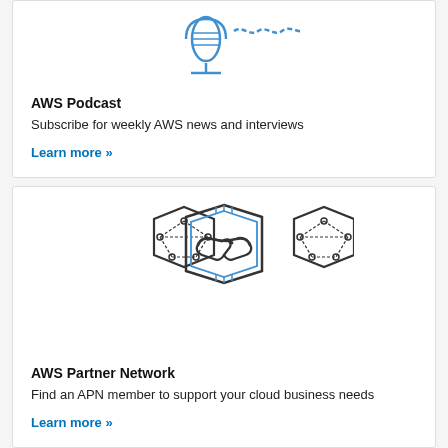[Figure (illustration): AWS Podcast icon: blue microphone with sound wave/cable graphic]
AWS Podcast
Subscribe for weekly AWS news and interviews
Learn more »
[Figure (illustration): AWS Partner Network icon: central hexagon with handshake inside, flanked by two smaller hexagons with network node graphics]
AWS Partner Network
Find an APN member to support your cloud business needs
Learn more »